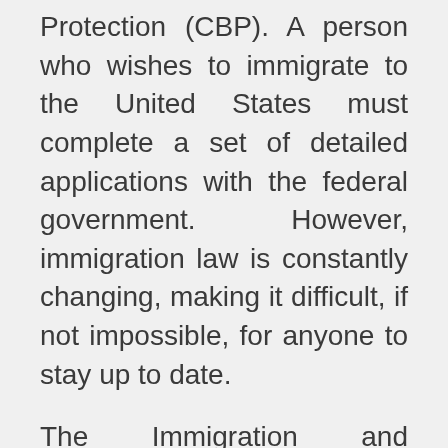Protection (CBP). A person who wishes to immigrate to the United States must complete a set of detailed applications with the federal government. However, immigration law is constantly changing, making it difficult, if not impossible, for anyone to stay up to date.
The Immigration and Nationality Act (INA) is the main source of naturalization and citizenship legislation in the United States. Immigrants may become citizens of the United States in a variety of ways.
An immigrant who was born in the United States of America or one of its domains.